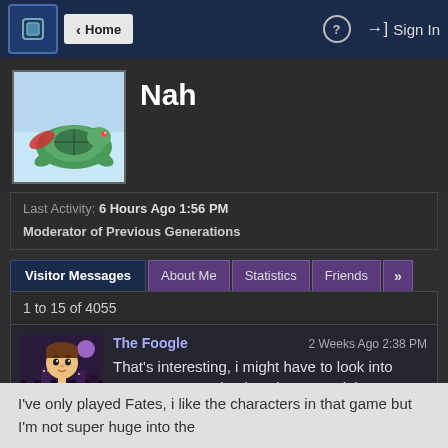Home | ? | Sign In
Nah
Last Activity: 6 Hours Ago 1:56 PM
Moderator of Previous Generations
Visitor Messages | About Me | Statistics | Friends | »
1 to 15 of 4055
The Foogle   2 Weeks Ago 2:38 PM
That's interesting, i might have to look into some more Awakening characters lol.
I've only played Fates, i like the characters in that game but I'm not super huge into the